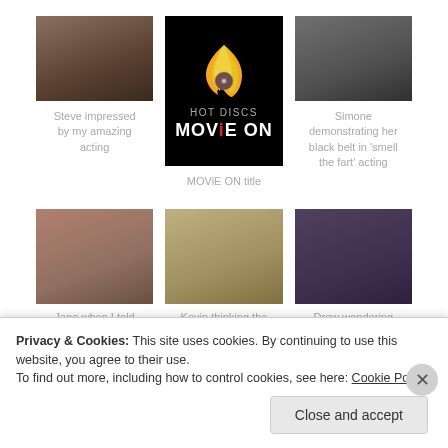[Figure (photo): Man smiling in a shop setting]
Steve impressed by my amazing acting
[Figure (logo): Hot Discs Movie On logo - flame with DVD, yellow and red text on black background]
MOViE ON title
[Figure (photo): Woman with serious expression, dark background]
Simone demonstrating her black belt in ‘smell the fart’ acting
[Figure (photo): Woman smiling, indoor setting]
[Figure (photo): Person in store aisle with shopping cart]
[Figure (photo): Person with long dark hair, thoughtful pose]
Jane when I told
Kevin thinking the
Drew wondering
Privacy & Cookies: This site uses cookies. By continuing to use this website, you agree to their use.
To find out more, including how to control cookies, see here: Cookie Policy